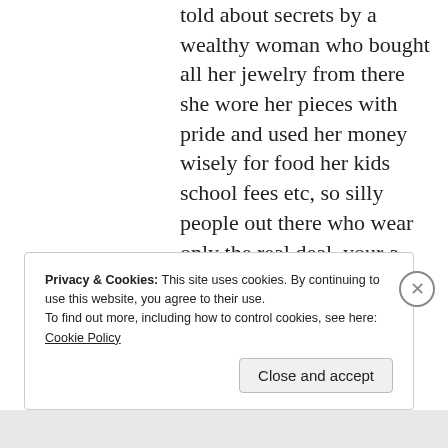told about secrets by a wealthy woman who bought all her jewelry from there she wore her pieces with pride and used her money wisely for food her kids school fees etc, so silly people out there who wear only the real deal..your a sorry lot.
★ Like
Reply
Privacy & Cookies: This site uses cookies. By continuing to use this website, you agree to their use.
To find out more, including how to control cookies, see here: Cookie Policy
Close and accept